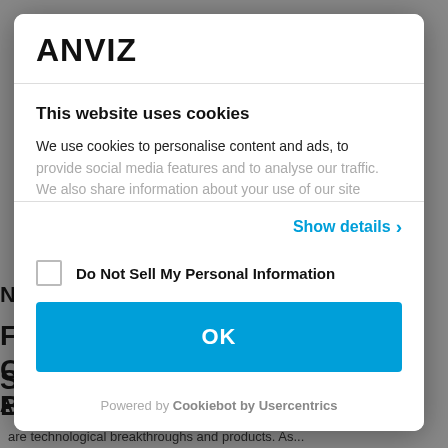[Figure (logo): ANVIZ logo in bold black text]
This website uses cookies
We use cookies to personalise content and ads, to provide social media features and to analyse our traffic. We also share information about your use of our site
Show details ›
Do Not Sell My Personal Information
OK
Powered by Cookiebot by Usercentrics